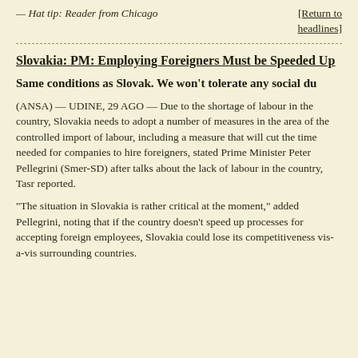— Hat tip: Reader from Chicago
[Return to headlines]
Slovakia: PM: Employing Foreigners Must be Speeded Up
Same conditions as Slovak. We won't tolerate any social du
(ANSA) — UDINE, 29 AGO — Due to the shortage of labour in the country, Slovakia needs to adopt a number of measures in the area of the controlled import of labour, including a measure that will cut the time needed for companies to hire foreigners, stated Prime Minister Peter Pellegrini (Smer-SD) after talks about the lack of labour in the country, Tasr reported.
“The situation in Slovakia is rather critical at the moment,” added Pellegrini, noting that if the country doesn’t speed up processes for accepting foreign employees, Slovakia could lose its competitiveness vis-a-vis surrounding countries.